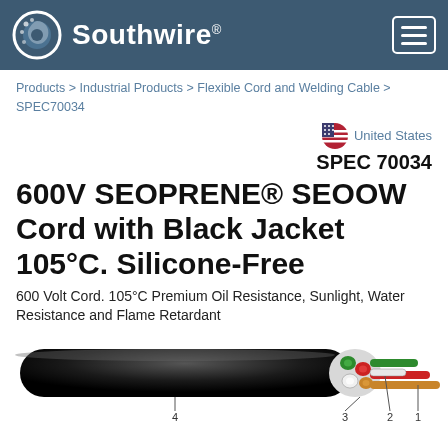Southwire
Products > Industrial Products > Flexible Cord and Welding Cable > SPEC70034
United States
SPEC 70034
600V SEOPRENE® SEOOW Cord with Black Jacket 105°C. Silicone-Free
600 Volt Cord. 105°C Premium Oil Resistance, Sunlight, Water Resistance and Flame Retardant
[Figure (photo): Cross-section photo of a black jacketed SEOOW cable showing colored conductors (green, red, black/white, copper) with numbered callouts 1, 2, 3, 4]